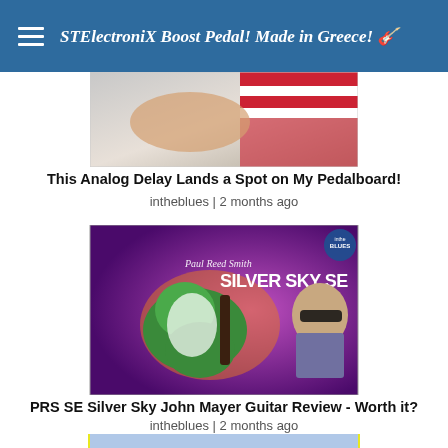STElectroniX Boost Pedal! Made in Greece! 🎸
[Figure (screenshot): Thumbnail image of analog delay pedal video, partial view cropped at top]
This Analog Delay Lands a Spot on My Pedalboard!
intheblues | 2 months ago
[Figure (screenshot): PRS SE Silver Sky John Mayer Guitar thumbnail: green Stratocaster-style guitar against purple background with SILVER SKY SE text, man with sunglasses]
PRS SE Silver Sky John Mayer Guitar Review - Worth it?
intheblues | 2 months ago
[Figure (screenshot): A Life in Lefty Guitars with Jerry Welch thumbnail: two men talking in guitar shop, American flag themed banner]